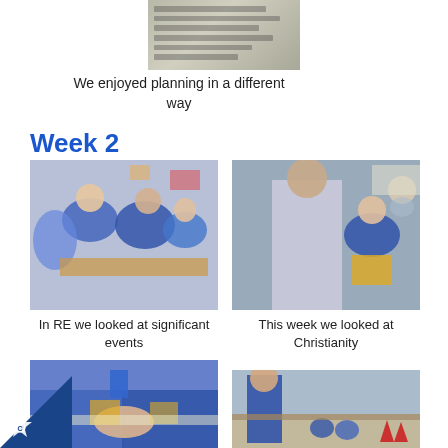[Figure (photo): A close-up of handwritten planning notes on paper, slightly blurry, grey toned]
We enjoyed planning in a different way
Week 2
[Figure (photo): Children in blue school uniforms sitting around a table engaged in a group activity in a classroom]
[Figure (photo): A teacher leaning towards a student in blue uniform who is sitting at a classroom table with other students in background]
In RE we looked at significant events
This week we looked at Christianity
[Figure (photo): Close-up of two children in blue uniforms shaking hands over a classroom table with yellow chairs visible]
[Figure (photo): A boy in blue school uniform standing with younger children sitting on a floor near red cones in a hall]